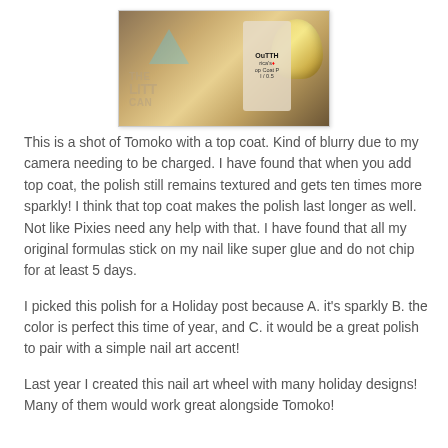[Figure (photo): Close-up photo of a hand holding a nail polish bottle (OPI Top Coat), with gold glitter sparkly nail polish visible on the fingernails. Watermark text 'THE LITTLE canvas' visible.]
This is a shot of Tomoko with a top coat.  Kind of blurry due to my camera needing to be charged.  I have found that when you add top coat, the polish still remains textured and gets ten times more sparkly!  I think that top coat makes the polish last longer as well.  Not like Pixies need any help with that.  I have found that all my original formulas stick on my nail like super glue and do not chip for at least 5 days.
I picked this polish for a Holiday post because A. it's sparkly B. the color is perfect this time of year, and C. it would be a great polish to pair with a simple nail art accent!
Last year I created this nail art wheel with many holiday designs!  Many of them would work great alongside Tomoko!